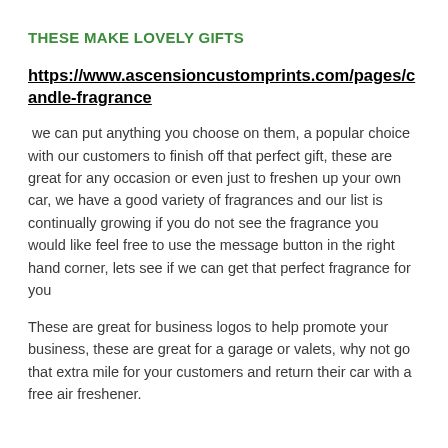THESE MAKE LOVELY GIFTS
https://www.ascensioncustomprints.com/pages/candle-fragrance
we can put anything you choose on them, a popular choice with our customers to finish off that perfect gift, these are great for any occasion or even just to freshen up your own car, we have a good variety of fragrances and our list is continually growing if you do not see the fragrance you would like feel free to use the message button in the right hand corner, lets see if we can get that perfect fragrance for you
These are great for business logos to help promote your business, these are great for a garage or valets, why not go that extra mile for your customers and return their car with a free air freshener.